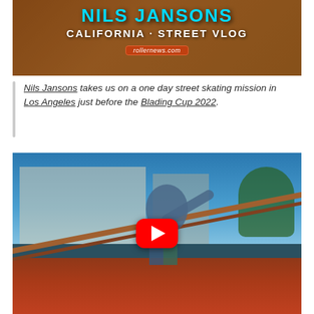[Figure (screenshot): Video thumbnail for Nils Jansons California Street Vlog with orange background, cyan title text 'NILS JANSONS', white subtitle 'CALIFORNIA - STREET VLOG', and rollernews.com badge]
Nils Jansons takes us on a one day street skating mission in Los Angeles just before the Blading Cup 2022.
[Figure (screenshot): YouTube video thumbnail showing a rollerblader grinding a rail in Los Angeles with a blue sky background, featuring a YouTube play button in the center]